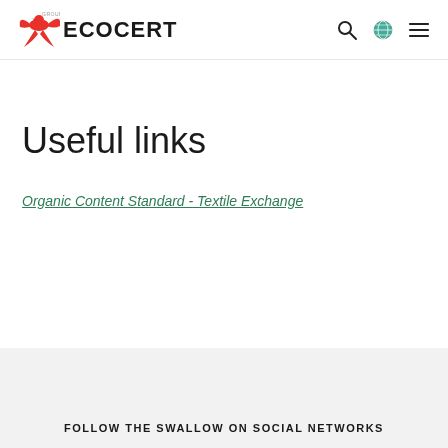[Figure (logo): Ecocert Group logo with red swallow bird and bold ECOCERT text]
Useful links
Organic Content Standard - Textile Exchange
FOLLOW THE SWALLOW ON SOCIAL NETWORKS